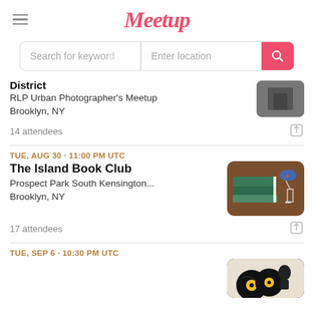Meetup
[Figure (screenshot): Search bar with 'Search for keyword' and 'Enter location' fields and a red search button]
District
RLP Urban Photographer's Meetup
Brooklyn, NY
14 attendees
TUE, AUG 30 · 11:00 PM UTC
The Island Book Club
Prospect Park South Kensington...
Brooklyn, NY
17 attendees
TUE, SEP 6 · 10:30 PM UTC